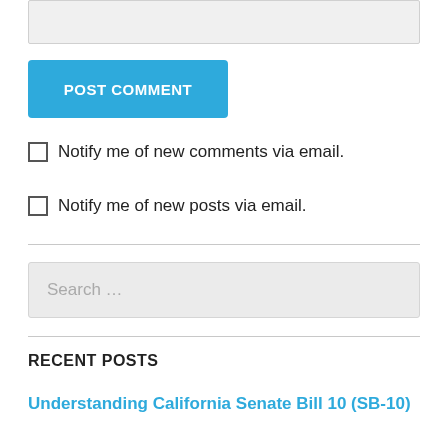[Figure (screenshot): Partial textarea input box (gray background, top of page)]
[Figure (screenshot): Blue POST COMMENT button]
Notify me of new comments via email.
Notify me of new posts via email.
[Figure (screenshot): Search input box with placeholder text 'Search ...']
RECENT POSTS
Understanding California Senate Bill 10 (SB-10)